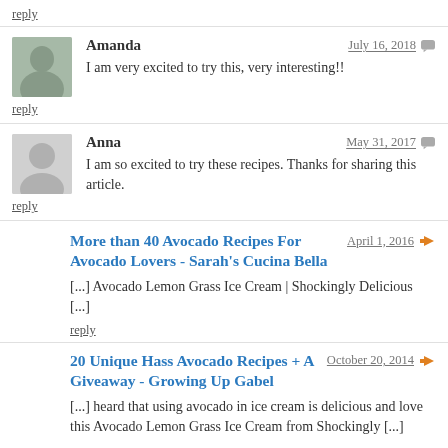reply
Amanda — July 16, 2018
I am very excited to try this, very interesting!!
reply
Anna — May 31, 2017
I am so excited to try these recipes. Thanks for sharing this article.
reply
More than 40 Avocado Recipes For Avocado Lovers - Sarah's Cucina Bella — April 1, 2016
[...] Avocado Lemon Grass Ice Cream | Shockingly Delicious [...]
reply
20 Unique Hass Avocado Recipes + A Giveaway - Growing Up Gabel — October 20, 2014
[...] heard that using avocado in ice cream is delicious and love this Avocado Lemon Grass Ice Cream from Shockingly [...]